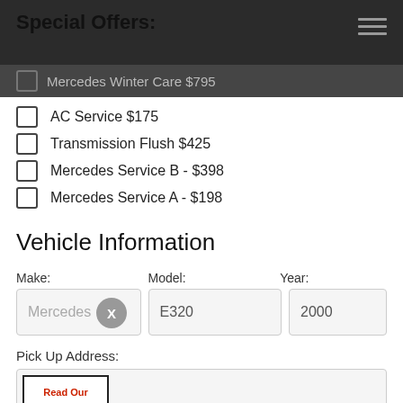Special Offers:
Mercedes Winter Care $795
AC Service $175
Transmission Flush $425
Mercedes Service B - $398
Mercedes Service A - $198
Vehicle Information
Make: Mercedes   Model: E320   Year: 2000
Pick Up Address:
[Figure (logo): Read Our Reviews badge with 5 stars]